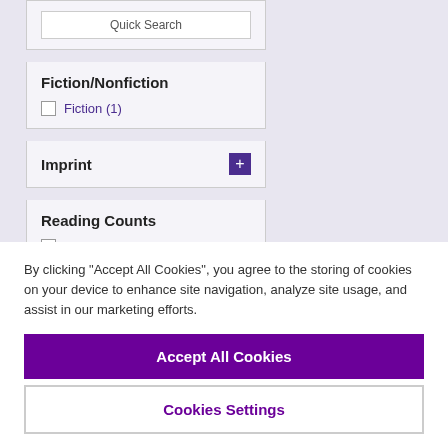[Figure (screenshot): Quick Search input box in sidebar]
Fiction/Nonfiction
Fiction (1)
Imprint
Reading Counts
Yes (0)
By clicking “Accept All Cookies”, you agree to the storing of cookies on your device to enhance site navigation, analyze site usage, and assist in our marketing efforts.
Accept All Cookies
Cookies Settings